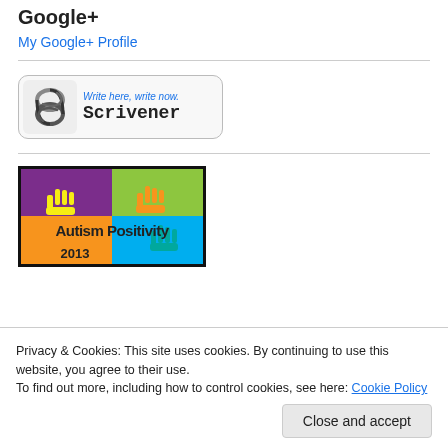Google+
My Google+ Profile
[Figure (logo): Scrivener badge with S logo and tagline 'Write here, write now.' and product name 'Scrivener']
[Figure (illustration): Autism Positivity 2013 colorful pop-art banner with raised hands in purple, green, yellow, and teal panels]
Privacy & Cookies: This site uses cookies. By continuing to use this website, you agree to their use.
To find out more, including how to control cookies, see here: Cookie Policy
Close and accept